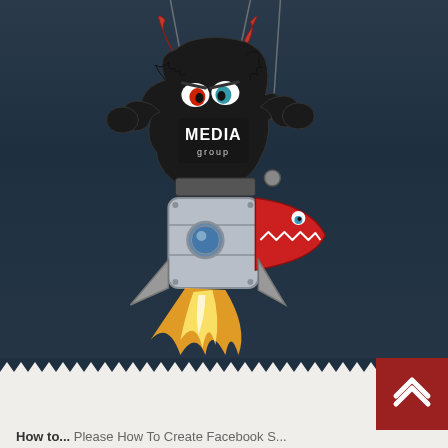[Figure (illustration): A cartoon black furry monster with red horns and angry eyes, wearing a shirt that says 'MEDIA group', riding a metallic rocket with a red shark-face nose cone, flame shooting out the bottom, hanging from strings like a marionette puppet. Background is dark navy/teal gradient.]
[Figure (logo): A red square button with a white upward chevron/arrow symbol, positioned in the bottom right corner over the zigzag border between dark and light sections.]
How to... Please How To Create Facebook S...